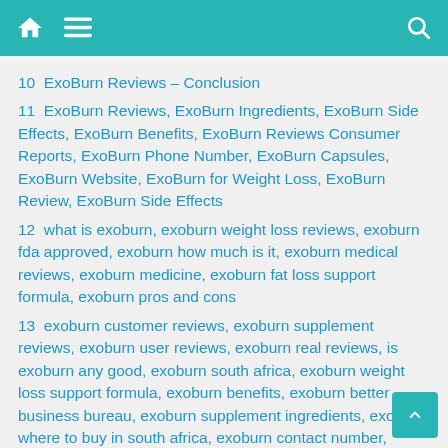Navigation bar with home, menu, and search icons
10  ExoBurn Reviews – Conclusion
11  ExoBurn Reviews, ExoBurn Ingredients, ExoBurn Side Effects, ExoBurn Benefits, ExoBurn Reviews Consumer Reports, ExoBurn Phone Number, ExoBurn Capsules, ExoBurn Website, ExoBurn for Weight Loss, ExoBurn Review, ExoBurn Side Effects
12  what is exoburn, exoburn weight loss reviews, exoburn fda approved, exoburn how much is it, exoburn medical reviews, exoburn medicine, exoburn fat loss support formula, exoburn pros and cons
13  exoburn customer reviews, exoburn supplement reviews, exoburn user reviews, exoburn real reviews, is exoburn any good, exoburn south africa, exoburn weight loss support formula, exoburn benefits, exoburn better business bureau, exoburn supplement ingredients, exoburn where to buy in south africa, exoburn contact number, exoburn complaints, exoburn weight loss support remedy
14  exoburn dosage, exoburn does it work, exoburn discount, exoburn side effects, is exoburn effective, exoburn for sale, exoburn gnc, is exoburn any good, is exoburn safe, is exoburn legitimate, is exoburn effective, where is exoburn made